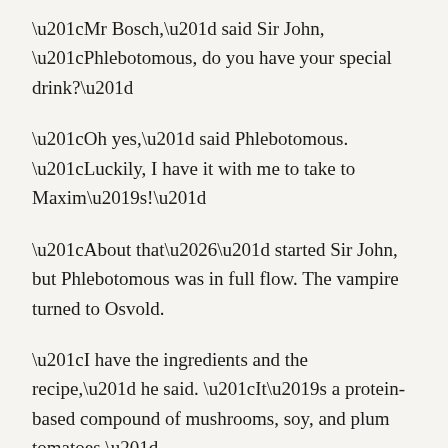“Mr Bosch,” said Sir John, “Phlebotomous, do you have your special drink?”
“Oh yes,” said Phlebotomous. “Luckily, I have it with me to take to Maxim’s!”
“About that…” started Sir John, but Phlebotomous was in full flow. The vampire turned to Osvold.
“I have the ingredients and the recipe,” he said. “It’s a protein-based compound of mushrooms, soy, and plum tomatoes.”
“No animals?” said Osvold, looking surprised.
“None at all,” said Phlebotomous. “It’s ethical, nutritious, and